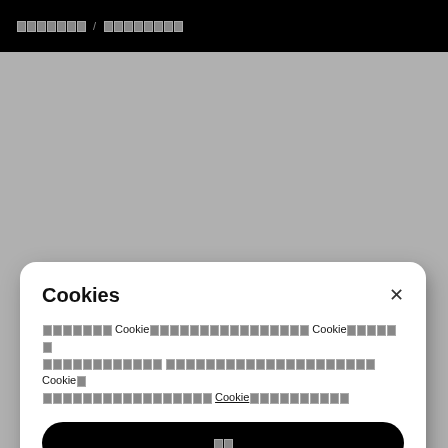▯▯▯▯▯▯▯ / ▯▯▯▯▯▯▯▯
[Figure (screenshot): Cookie consent modal dialog overlay on a website. The modal has a white rounded-rectangle panel with title 'Cookies', body text in an East Asian script mentioning cookies, a close (×) button, and a black pill-shaped accept button with text in the same script.]
Cookies
▯▯▯▯▯▯▯ Cookie▯▯▯▯▯▯▯▯▯▯▯▯▯▯▯▯ Cookie▯▯▯▯▯▯ ▯▯▯▯▯▯▯▯▯▯▯▯ ▯▯▯▯▯▯▯▯▯▯▯▯▯▯▯▯▯▯▯▯▯ Cookie▯ ▯▯▯▯▯▯▯▯▯▯▯▯▯▯▯▯ Cookie▯▯▯▯▯▯▯▯▯▯
▯▯